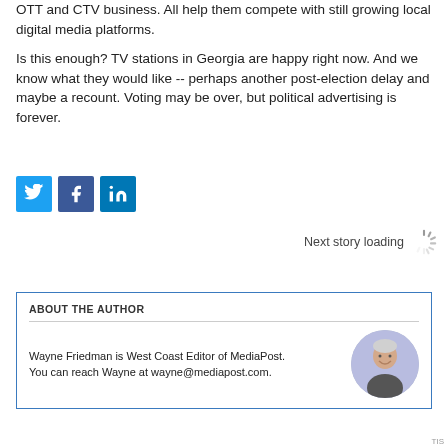OTT and CTV business. All help them compete with still growing local digital media platforms.
Is this enough? TV stations in Georgia are happy right now. And we know what they would like -- perhaps another post-election delay and maybe a recount. Voting may be over, but political advertising is forever.
[Figure (other): Social media share buttons: Twitter (blue bird icon), Facebook (blue f icon), LinkedIn (blue in icon)]
Comment
Next story loading
ABOUT THE AUTHOR
Wayne Friedman is West Coast Editor of MediaPost. You can reach Wayne at wayne@mediapost.com.
[Figure (photo): Circular headshot photo of Wayne Friedman, smiling man with short grey hair against a light purple background]